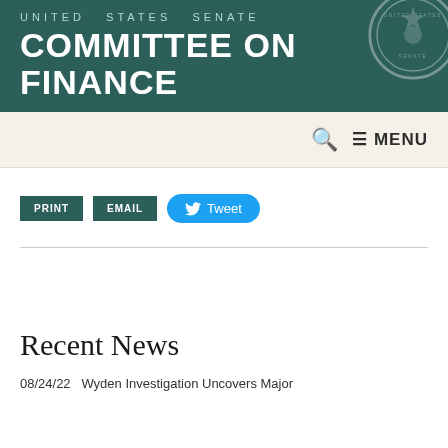UNITED STATES SENATE COMMITTEE ON FINANCE
PRINT EMAIL Tweet
Recent News
08/24/22  Wyden Investigation Uncovers Major